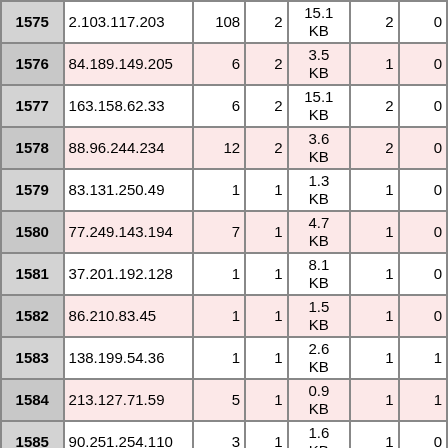| 1575 | 2.103.117.203 | 108 | 2 | 15.1 KB | 2 | 0 |
| 1576 | 84.189.149.205 | 6 | 2 | 3.5 KB | 1 | 0 |
| 1577 | 163.158.62.33 | 6 | 2 | 15.1 KB | 2 | 0 |
| 1578 | 88.96.244.234 | 12 | 2 | 3.6 KB | 2 | 0 |
| 1579 | 83.131.250.49 | 1 | 1 | 1.3 KB | 1 | 0 |
| 1580 | 77.249.143.194 | 7 | 1 | 4.7 KB | 1 | 0 |
| 1581 | 37.201.192.128 | 1 | 1 | 8.1 KB | 1 | 0 |
| 1582 | 86.210.83.45 | 1 | 1 | 1.5 KB | 1 | 0 |
| 1583 | 138.199.54.36 | 1 | 1 | 2.6 KB | 1 | 1 |
| 1584 | 213.127.71.59 | 5 | 1 | 0.9 KB | 1 | 1 |
| 1585 | 90.251.254.110 | 3 | 1 | 1.6 KB | 1 | 0 |